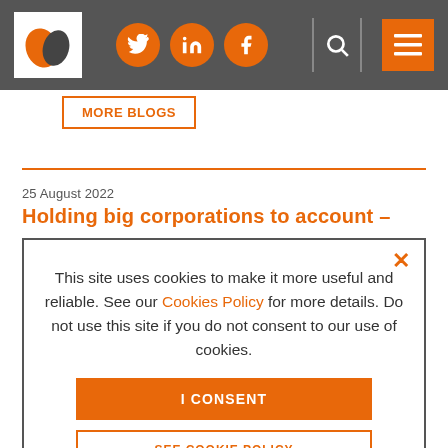[Figure (logo): Website header bar with logo (leaf icon), social media icons (Twitter, LinkedIn, Facebook), search icon, and menu button]
MORE BLOGS
25 August 2022
Holding big corporations to account –
This site uses cookies to make it more useful and reliable. See our Cookies Policy for more details. Do not use this site if you do not consent to our use of cookies.
I CONSENT
SEE COOKIE POLICY